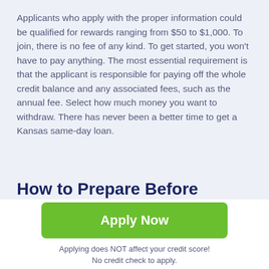Applicants who apply with the proper information could be qualified for rewards ranging from $50 to $1,000. To join, there is no fee of any kind. To get started, you won't have to pay anything. The most essential requirement is that the applicant is responsible for paying off the whole credit balance and any associated fees, such as the annual fee. Select how much money you want to withdraw. There has never been a better time to get a Kansas same-day loan.
How to Prepare Before Applying – Fast Payday Loans in Shawnee, Kansas
[Figure (other): Green 'Apply Now' button with disclaimer text below: 'Applying does NOT affect your credit score! No credit check to apply.']